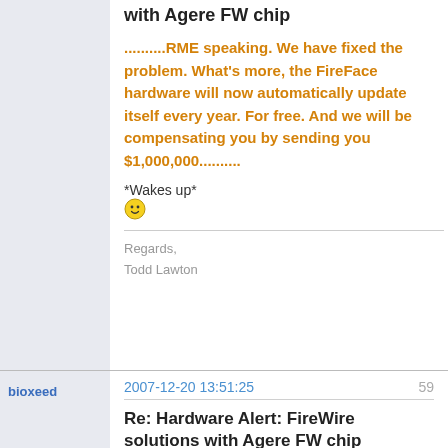with Agere FW chip
..........RME speaking. We have fixed the problem. What's more, the FireFace hardware will now automatically update itself every year. For free. And we will be compensating you by sending you $1,000,000..........
*Wakes up*
Regards, Todd Lawton
bioxeed
2007-12-20 13:51:25
59
Re: Hardware Alert: FireWire solutions with Agere FW chip
I'm in the market for a new soundcard and while i'd prefer a HDSPe 9632 they don't seem to be